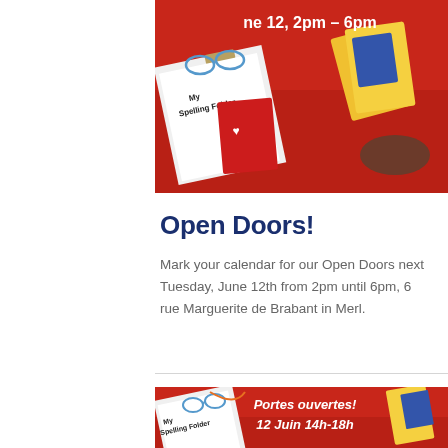[Figure (photo): Photo of a red display table with a 'My Spelling Folder' clipboard, a red booklet with a heart logo, glasses, and yellow flashcards being held. White text overlay reads 'ne 12, 2pm - 6pm'.]
Open Doors!
Mark your calendar for our Open Doors next Tuesday, June 12th from 2pm until 6pm, 6 rue Marguerite de Brabant in Merl.
[Figure (photo): Photo of the same red display table with 'My Spelling Folder' clipboard and materials. White italic text overlay reads 'Portes ouvertes! 12 Juin 14h-18h'.]